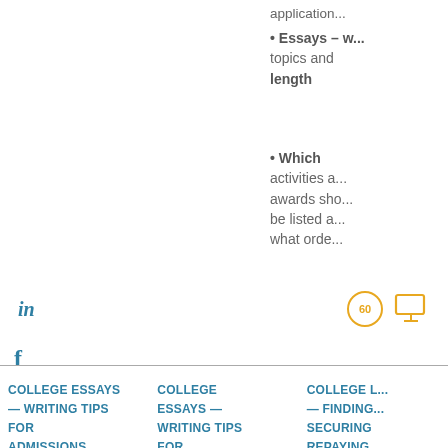application...
Essays - v... topics and length
Which activities a... awards sho... be listed a... what orde...
[Figure (illustration): Clock icon with '60' and monitor/screen icon in orange/yellow color]
in
f
COLLEGE ESSAYS — WRITING TIPS FOR ADMISSIONS AND
COLLEGE ESSAYS — WRITING TIPS FOR ADMISSIONS
COLLEGE L... — FINDING... SECURING REPAYING FINANCIAL...